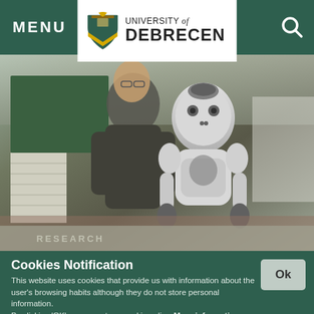MENU | University of Debrecen
[Figure (photo): Person holding a white humanoid robot (NAO robot) in an indoor setting, green chalkboard visible in background.]
RESEARCH
Cookies Notification
This website uses cookies that provide us with information about the user's browsing habits although they do not store personal information.
By clicking 'OK' you accept our cookie policy. More information »